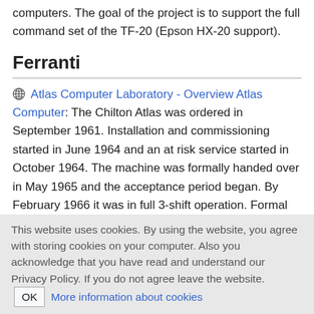computers. The goal of the project is to support the full command set of the TF-20 (Epson HX-20 support).
Ferranti
Atlas Computer Laboratory - Overview Atlas Computer: The Chilton Atlas was ordered in September 1961. Installation and commissioning started in June 1964 and an at risk service started in October 1964. The machine was formally handed over in May 1965 and the acceptance period began. By February 1966 it was in full 3-shift operation. Formal acceptance took place in May 1966. This section gives details of the hardware and architecture of both the Atlas I and Atlas II computers
This website uses cookies. By using the website, you agree with storing cookies on your computer. Also you acknowledge that you have read and understand our Privacy Policy. If you do not agree leave the website. OK More information about cookies